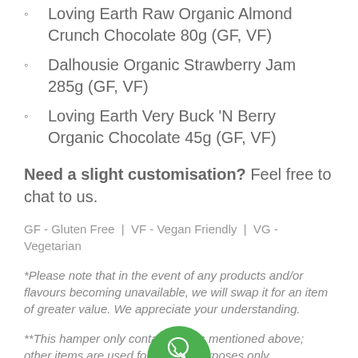Loving Earth Raw Organic Almond Crunch Chocolate 80g (GF, VF)
Dalhousie Organic Strawberry Jam 285g (GF, VF)
Loving Earth Very Buck 'N Berry Organic Chocolate 45g (GF, VF)
Need a slight customisation? Feel free to chat to us.
GF - Gluten Free  |  VF - Vegan Friendly  |  VG - Vegetarian
*Please note that in the event of any products and/or flavours becoming unavailable, we will swap it for an item of greater value. We appreciate your understanding.
**This hamper only contains items mentioned above; other items are used for display purposes only.
[Figure (logo): WhatsApp logo green circle with phone icon]